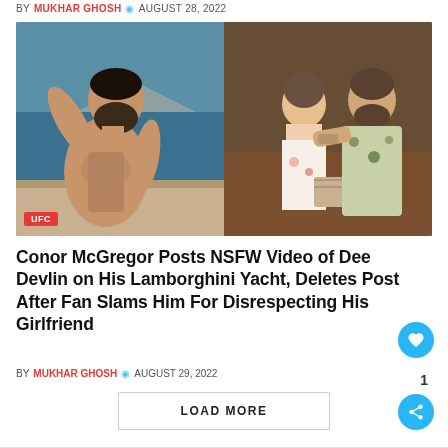BY MUKHAR GHOSH | AUGUST 28, 2022
[Figure (photo): Left: shirtless tattooed man with hand behind head on a boat with sea and mountains in background. Right: man in floral shirt with woman in white top posing together indoors. UFC badge overlay on bottom left.]
Conor McGregor Posts NSFW Video of Dee Devlin on His Lamborghini Yacht, Deletes Post After Fan Slams Him For Disrespecting His Girlfriend
BY MUKHAR GHOSH | AUGUST 29, 2022